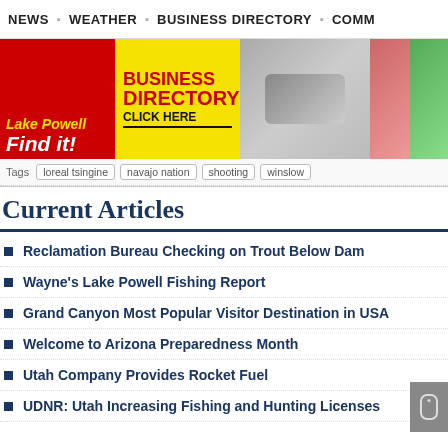NEWS | WEATHER | BUSINESS DIRECTORY | COMM...
[Figure (photo): Lake Powell Business Directory banner advertisement with 'Find it!' text on red background, yellow section with 'BUSINESS DIRECTORY CLICK HERE', and photos of a car, people, and outdoor gear]
Tags: loreal tsingine | navajo nation | shooting | winslow
Current Articles
Reclamation Bureau Checking on Trout Below Dam
Wayne's Lake Powell Fishing Report
Grand Canyon Most Popular Visitor Destination in USA
Welcome to Arizona Preparedness Month
Utah Company Provides Rocket Fuel
UDNR: Utah Increasing Fishing and Hunting Licenses